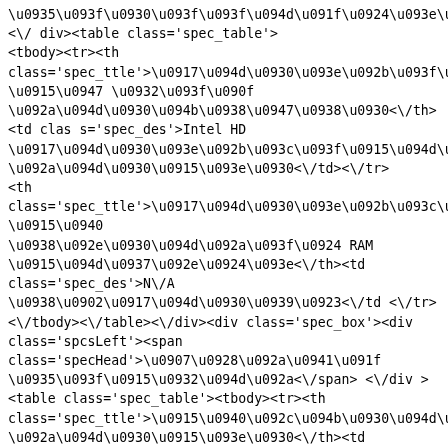\u0935\u093f\u0930\u093f\u093f\u094d\u091f\u0924\u093e\u090f\u0901<\/span> <\/ div><table class='spec_table'><tbody><tr><th class='spec_ttle'>\u0917\u094d\u0930\u093e\u092b\u093f\u0915\u094d\u0938 \u0915\u0947 \u0932\u093f\u090f \u092a\u094d\u0930\u094b\u0938\u0947\u0938\u0930<\/th><td clas s='spec_des'>Intel HD \u0917\u094d\u0930\u093e\u092b\u093c\u093f\u0915\u094d\u0938 \u092a\u094d\u0930\u0915\u093e\u0930<\/td><\/tr><th class='spec_ttle'>\u0917\u094d\u0930\u093e\u092b\u093c\u093f\u0915\u094d\u0938 \u0915\u0940 \u0938\u092e\u0930\u094d\u092a\u093f\u0924 RAM \u0915\u094d\u0937\u092e\u0924\u093e<\/th><td class='spec_des'>N\/A \u0938\u0902\u0917\u094d\u0930\u0939\u0923<\/td <\/tr><\/tbody><\/table><\/div><div class='spec_box'><div class='spcsLeft'><span class='specHead'>\u0907\u0928\u092a\u0941\u091f \u0935\u093f\u0915\u0932\u094d\u092a<\/span> <\/div ><table class='spec_table'><tbody><tr><th class='spec_ttle'>\u0915\u0940\u092c\u094b\u0930\u094d\u0921 \u092a\u094d\u0930\u0915\u093e\u0930<\/th><td class='spec_des'>\u0905\u0902\u0924\u0930\u094d\u0930\u093e\u0937\u094d\u091f\u094d\u0930\u0940\u092f \u092d\u093e\u0937\u093e \u0938\u092e\u0930\u094d\u0925\u0928 \u0935\u093f\u0915\u0932\u094d\u092a \u0915\u0947 \u0938\u093e\u0925 \u092b\u093e\u0907\u0928\u091f\u093f\u092a \u0915\u0940\u092c\u094b\u0930\u094d\u0921<\/td><\/tr> ...